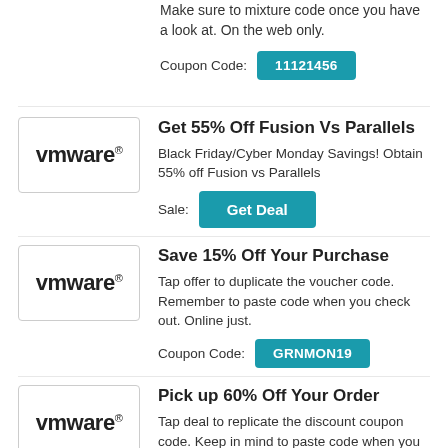Make sure to mixture code once you have a look at. On the web only.
Coupon Code: 11121456
[Figure (logo): VMware logo in a bordered box]
Get 55% Off Fusion Vs Parallels
Black Friday/Cyber Monday Savings! Obtain 55% off Fusion vs Parallels
Sale: Get Deal
[Figure (logo): VMware logo in a bordered box]
Save 15% Off Your Purchase
Tap offer to duplicate the voucher code. Remember to paste code when you check out. Online just.
Coupon Code: GRNMON19
[Figure (logo): VMware logo in a bordered box]
Pick up 60% Off Your Order
Tap deal to replicate the discount coupon code. Keep in mind to paste code when you check into. Online only.